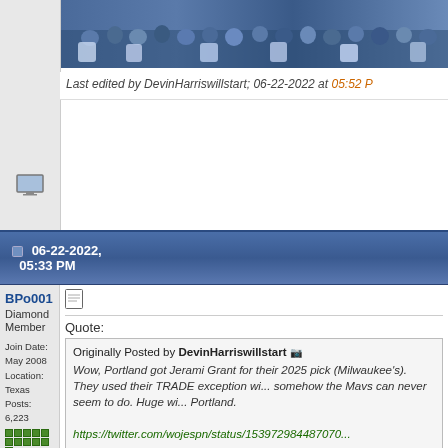[Figure (photo): Basketball arena crowd photo strip at top of page]
Last edited by DevinHarriswillstart; 06-22-2022 at 05:52 P
06-22-2022, 05:33 PM
BPo001
Diamond Member
Join Date: May 2008
Location: Texas
Posts: 6,223
Quote:
Originally Posted by DevinHarriswillstart
Wow, Portland got Jerami Grant for their 2025 pick (Milwaukee's). They used their TRADE exception wi... somehow the Mavs can never seem to do. Huge wi... Portland.
https://twitter.com/wojespn/status/153972984487070...
This strikes me as something the Mavs could have g... done with their 26th pick. Would you rather have Gr... Wood? I still pick Wood by a confident margin. Grea... good defender, but we needed a center.
I posted in another threat about this, but I?m surprised D... couldn?t find a better package for Grant. A 2025 1st fro... Bucks is likely going to be in the 20?s. I can?t believe th...